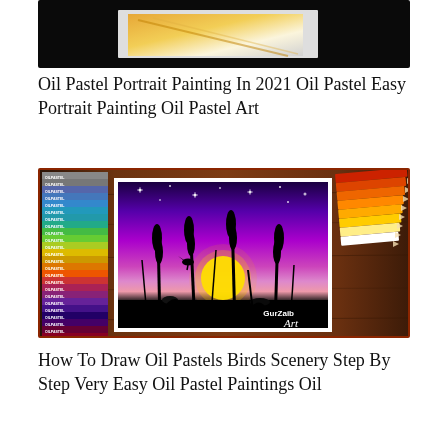[Figure (photo): Partial top image showing a dark/black background with what appears to be a painting on paper, edge visible at bottom]
Oil Pastel Portrait Painting In 2021 Oil Pastel Easy Portrait Painting Oil Pastel Art
[Figure (photo): Thumbnail image showing oil pastel sticks on left, colored pencils on right, and a purple/violet night scene painting in the center on a wooden table background, with 'GurZaib Art' watermark]
How To Draw Oil Pastels Birds Scenery Step By Step Very Easy Oil Pastel Paintings Oil